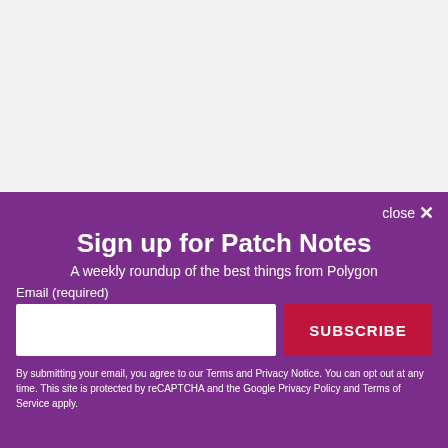[Figure (screenshot): Top background area, light gray/beige color, empty content area above modal dialog]
Sign up for Patch Notes
A weekly roundup of the best things from Polygon
Email (required)
SUBSCRIBE
By submitting your email, you agree to our Terms and Privacy Notice. You can opt out at any time. This site is protected by reCAPTCHA and the Google Privacy Policy and Terms of Service apply.